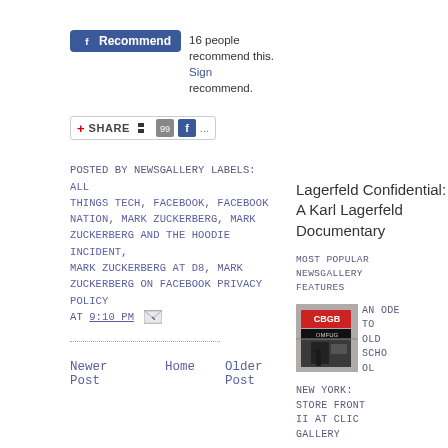[Figure (other): Facebook Recommend button widget with '16 people recommend this. Sign in to recommend.' text]
[Figure (other): Share widget with social media icons]
POSTED BY NEWSGALLERY LABELS: ALL THINGS TECH, FACEBOOK, FACEBOOK NATION, MARK ZUCKERBERG, MARK ZUCKERBERG AND THE HOODIE INCIDENT, MARK ZUCKERBERG AT D8, MARK ZUCKERBERG ON FACEBOOK PRIVACY POLICY AT 9:10 PM
Lagerfeld Confidential: A Karl Lagerfeld Documentary
MOST POPULAR NEWSGALLERY FEATURES
Newer Post   Home   Older Post
[Figure (photo): Photo of CBGB OMFUG storefront]
AN ODE TO OLD SCHOOL NEW YORK: STORE FRONT II AT CLIC GALLERY